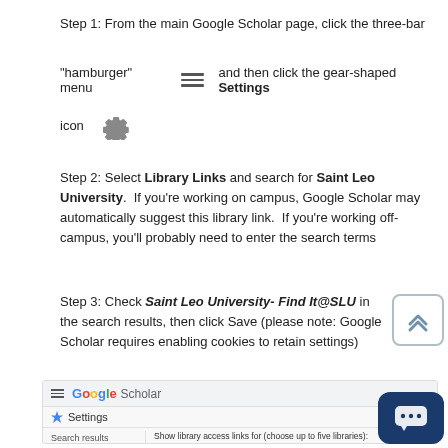Step 1: From the main Google Scholar page, click the three-bar "hamburger" menu  ≡  and then click the gear-shaped Settings icon  ⚙
Step 2: Select Library Links and search for Saint Leo University.  If you're working on campus, Google Scholar may automatically suggest this library link.  If you're working off-campus, you'll probably need to enter the search terms
Step 3: Check Saint Leo University- Find It@SLU in the search results, then click Save (please note: Google Scholar requires enabling cookies to retain settings)
[Figure (screenshot): Screenshot of Google Scholar Settings page showing Library links menu with Saint Leo University entered in the library search field]